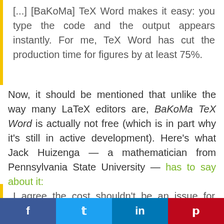[...] [BaKoMa] TeX Word makes it easy: you type the code and the output appears instantly. For me, TeX Word has cut the production time for figures by at least 75%.
Now, it should be mentioned that unlike the way many LaTeX editors are, BaKoMa TeX Word is actually not free (which is in part why it's still in active development). Here's what Jack Huizenga — a mathematician from Pennsylvania State University — has to say about it:
I agree the cost shouldn't be an issue for serious researchers: this [BaKoMa TeX] is